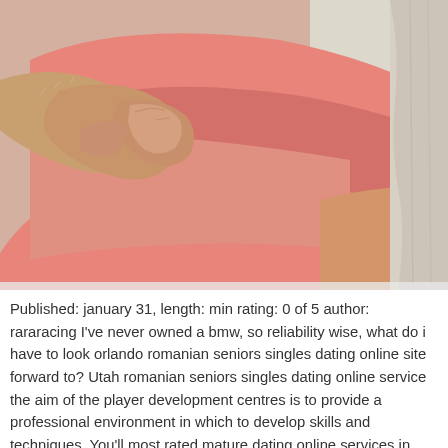[Figure (photo): Close-up photograph of two people hugging. One person wearing a pink/salmon short-sleeve shirt, with an older person's hand (wrinkled skin, visible with light hair) gripping the shoulder/upper arm area. A light beige curtain or fabric visible on the right side.]
Published: january 31, length: min rating: 0 of 5 author: rararacing I've never owned a bmw, so reliability wise, what do i have to look orlando romanian seniors singles dating online site forward to? Utah romanian seniors singles dating online service the aim of the player development centres is to provide a professional environment in which to develop skills and techniques. You'll most rated mature dating online services in toronto need to orbit a